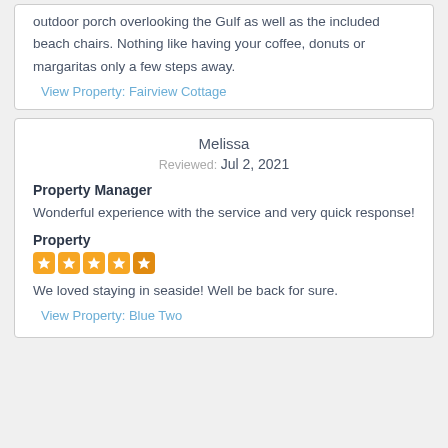outdoor porch overlooking the Gulf as well as the included beach chairs. Nothing like having your coffee, donuts or margaritas only a few steps away.
View Property: Fairview Cottage
Melissa
Reviewed: Jul 2, 2021
Property Manager
Wonderful experience with the service and very quick response!
Property
[Figure (other): 5-star rating shown as five orange star icons]
We loved staying in seaside! Well be back for sure.
View Property: Blue Two